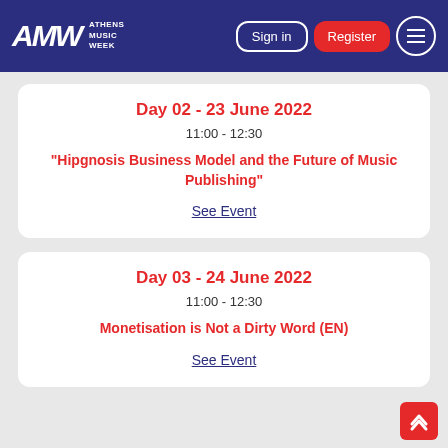Athens Music Week — Sign in | Register
Day 02 - 23 June 2022
11:00 - 12:30
“Hipgnosis Business Model and the Future of Music Publishing”
See Event
Day 03 - 24 June 2022
11:00 - 12:30
Monetisation is Not a Dirty Word (EN)
See Event